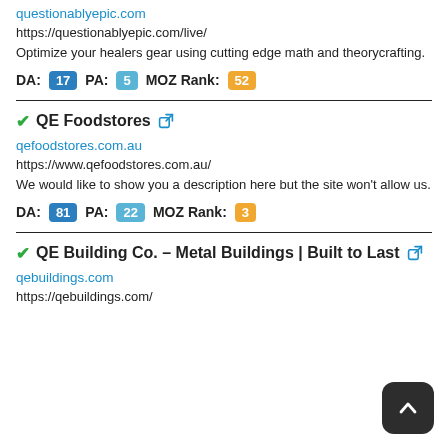questionablyepic.com
https://questionablyepic.com/live/
Optimize your healers gear using cutting edge math and theorycrafting.
DA: 17  PA: 5  MOZ Rank: 52
QE Foodstores
qefoodstores.com.au
https://www.qefoodstores.com.au/
We would like to show you a description here but the site won't allow us.
DA: 81  PA: 22  MOZ Rank: 3
QE Building Co. – Metal Buildings | Built to Last
qebuildings.com
https://qebuildings.com/